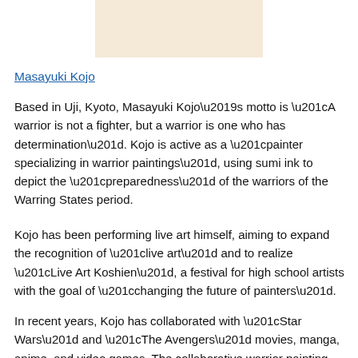[Figure (photo): Image placeholder / photo of Masayuki Kojo artwork]
Masayuki Kojo
Based in Uji, Kyoto, Masayuki Kojo’s motto is “A warrior is not a fighter, but a warrior is one who has determination”. Kojo is active as a “painter specializing in warrior paintings”, using sumi ink to depict the “preparedness” of the warriors of the Warring States period.
Kojo has been performing live art himself, aiming to expand the recognition of “live art” and to realize “Live Art Koshien”, a festival for high school artists with the goal of “changing the future of painters”.
In recent years, Kojo has collaborated with “Star Wars” and “The Avengers” movies, manga, anime, and video games. The collaborative warrior painting was made possible through a conversation with singer Tsuyoshi